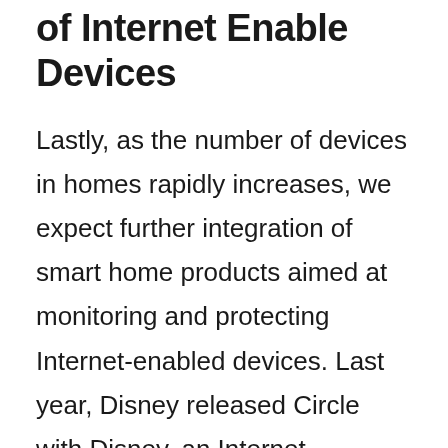Monitoring and Protection of Internet Enable Devices
Lastly, as the number of devices in homes rapidly increases, we expect further integration of smart home products aimed at monitoring and protecting Internet-enabled devices. Last year, Disney released Circle with Disney, an Internet monitoring device that connects straight to the wireless router in the home and controls all Internet capable devices from there. Not only does this device monitor